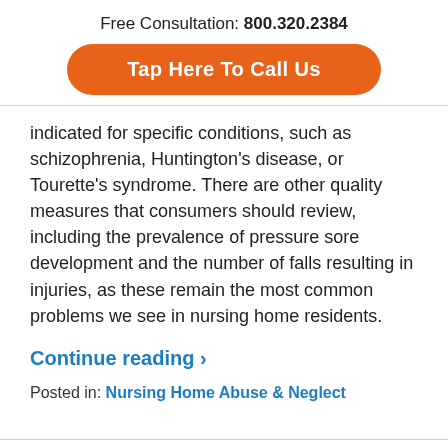Free Consultation: 800.320.2384
[Figure (other): Orange rounded button with white text: Tap Here To Call Us]
indicated for specific conditions, such as schizophrenia, Huntington's disease, or Tourette's syndrome. There are other quality measures that consumers should review, including the prevalence of pressure sore development and the number of falls resulting in injuries, as these remain the most common problems we see in nursing home residents.
Continue reading ›
Posted in: Nursing Home Abuse & Neglect